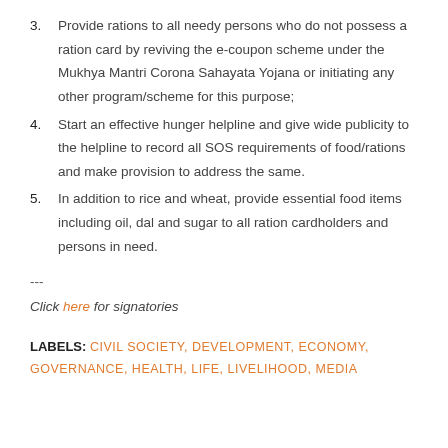3. Provide rations to all needy persons who do not possess a ration card by reviving the e-coupon scheme under the Mukhya Mantri Corona Sahayata Yojana or initiating any other program/scheme for this purpose;
4. Start an effective hunger helpline and give wide publicity to the helpline to record all SOS requirements of food/rations and make provision to address the same.
5. In addition to rice and wheat, provide essential food items including oil, dal and sugar to all ration cardholders and persons in need.
---
Click here for signatories
LABELS: CIVIL SOCIETY, DEVELOPMENT, ECONOMY, GOVERNANCE, HEALTH, LIFE, LIVELIHOOD, MEDIA